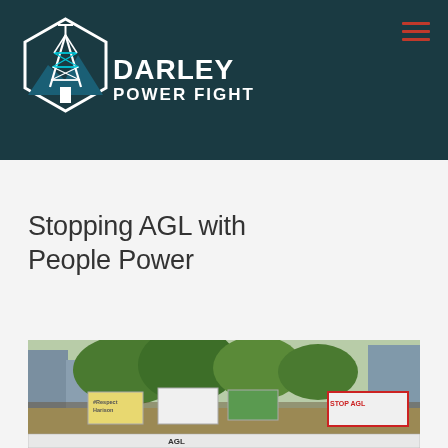[Figure (logo): Darley Power Fight logo: a hexagon outline with a power transmission tower and mountains inside, next to bold white text 'DARLEY POWER FIGHT']
Stopping AGL with People Power
[Figure (photo): Outdoor protest rally with crowd of people holding signs including '#Respect Harison', 'STOP AGL', and 'AGL' banners, with trees and city buildings in background]